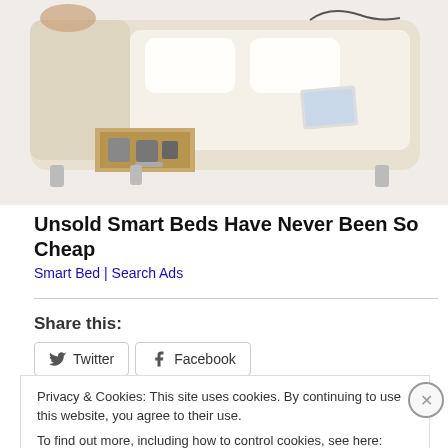[Figure (photo): Photo of a smart/luxury bed with beige leather upholstery, storage drawer open at the base, and additional features visible]
Unsold Smart Beds Have Never Been So Cheap
Smart Bed | Search Ads
Share this:
Twitter  Facebook
Privacy & Cookies: This site uses cookies. By continuing to use this website, you agree to their use.
To find out more, including how to control cookies, see here: Cookie Policy
Close and accept